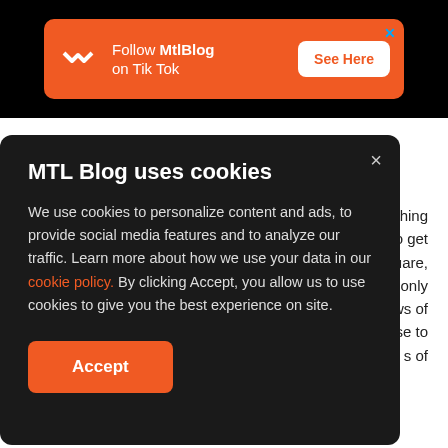[Figure (other): Orange advertisement banner on black background: MTL Blog logo (zigzag icon), text 'Follow MtlBlog on Tik Tok', white button 'See Here', blue X close button]
What you can find: Machokes, Hitmonlees, more.
atching to get uare, ot only ews of se to s of
MTL Blog uses cookies

We use cookies to personalize content and ads, to provide social media features and to analyze our traffic. Learn more about how we use your data in our cookie policy. By clicking Accept, you allow us to use cookies to give you the best experience on site.

[Accept button]